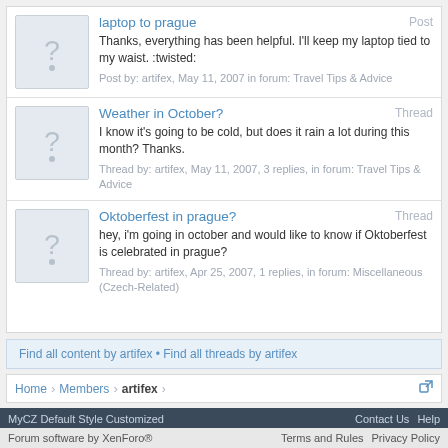laptop to prague
Thanks, everything has been helpful. I'll keep my laptop tied to my waist. :twisted:
Post by: artifex, May 11, 2007 in forum: Travel Tips & Advice
Weather in October?
I know it's going to be cold, but does it rain a lot during this month? Thanks.
Thread by: artifex, May 11, 2007, 3 replies, in forum: Travel Tips & Advice
Oktoberfest in prague?
hey, i'm going in october and would like to know if Oktoberfest is celebrated in prague?
Thread by: artifex, Apr 25, 2007, 1 replies, in forum: Miscellaneous (Czech-Related)
Find all content by artifex • Find all threads by artifex
Home > Members > artifex
MyCZ Default Style Customized | Contact Us | Help | Forum software by XenForo® | Terms and Rules | Privacy Policy